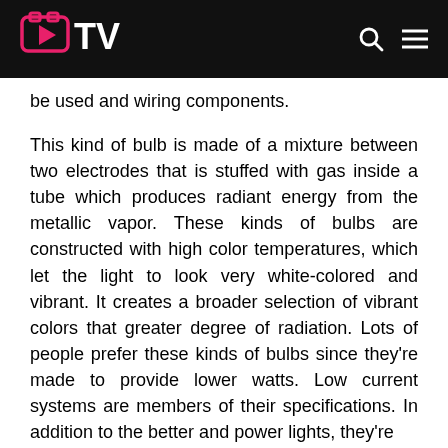TV
be used and wiring components.
This kind of bulb is made of a mixture between two electrodes that is stuffed with gas inside a tube which produces radiant energy from the metallic vapor. These kinds of bulbs are constructed with high color temperatures, which let the light to look very white-colored and vibrant. It creates a broader selection of vibrant colors that greater degree of radiation. Lots of people prefer these kinds of bulbs since they're made to provide lower watts. Low current systems are members of their specifications. In addition to the better and power lights, they're